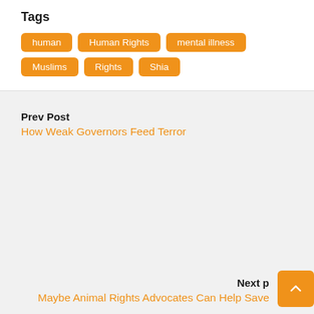Tags
human
Human Rights
mental illness
Muslims
Rights
Shia
Prev Post
How Weak Governors Feed Terror
Next p
Maybe Animal Rights Advocates Can Help Save